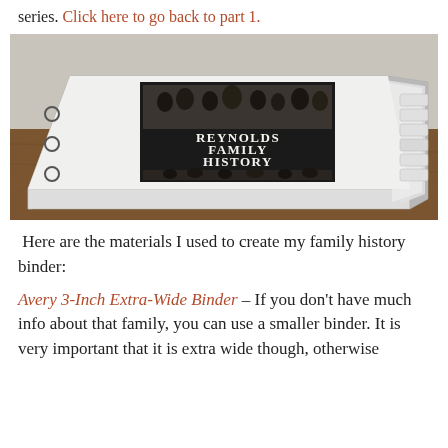series. Click here to go back to part 1.
[Figure (photo): A white three-ring binder labeled 'Reynolds Family History' with old family photographs on the cover, sitting open on a wooden table with visible tabbed dividers.]
Here are the materials I used to create my family history binder:
Avery 3-Inch Extra-Wide Binder – If you don't have much info about that family, you can use a smaller binder. It is very important that it is extra wide though, otherwise